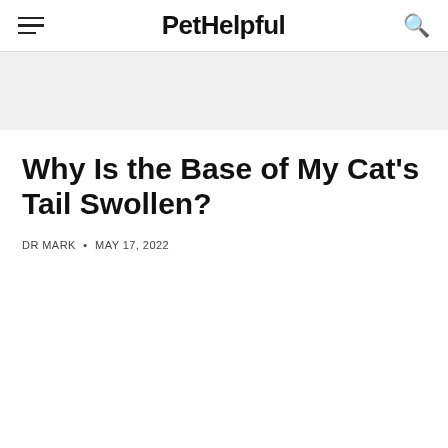PetHelpful
Why Is the Base of My Cat's Tail Swollen?
DR MARK • MAY 17, 2022